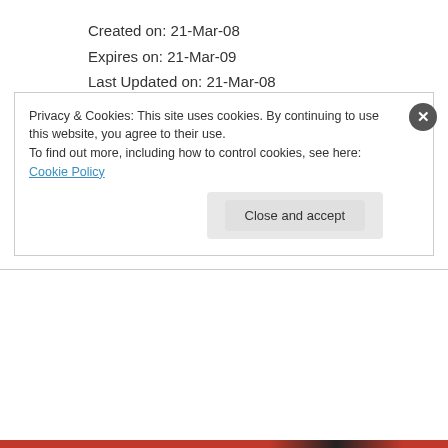Created on: 21-Mar-08
Expires on: 21-Mar-09
Last Updated on: 21-Mar-08
I wonder if they're trying to spin the fact that the expelled domain was bought before the interviews too somehow?
★ Like
↪ Reply
Privacy & Cookies: This site uses cookies. By continuing to use this website, you agree to their use.
To find out more, including how to control cookies, see here: Cookie Policy
Close and accept